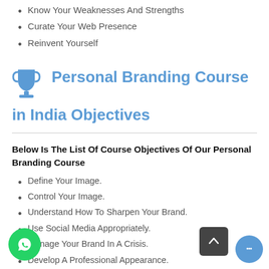Know Your Weaknesses And Strengths
Curate Your Web Presence
Reinvent Yourself
Personal Branding Course in India Objectives
Below Is The List Of Course Objectives Of Our Personal Branding Course
Define Your Image.
Control Your Image.
Understand How To Sharpen Your Brand.
Use Social Media Appropriately.
Manage Your Brand In A Crisis.
Develop A Professional Appearance.